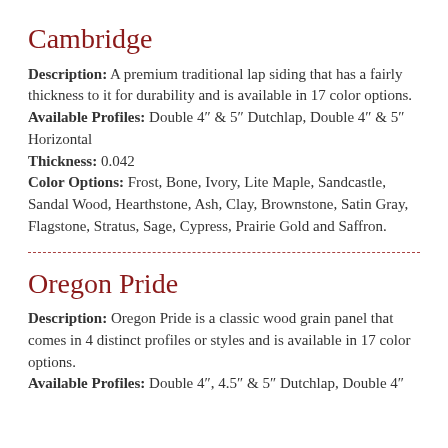Cambridge
Description: A premium traditional lap siding that has a fairly thickness to it for durability and is available in 17 color options. Available Profiles: Double 4" & 5" Dutchlap, Double 4" & 5" Horizontal Thickness: 0.042 Color Options: Frost, Bone, Ivory, Lite Maple, Sandcastle, Sandal Wood, Hearthstone, Ash, Clay, Brownstone, Satin Gray, Flagstone, Stratus, Sage, Cypress, Prairie Gold and Saffron.
Oregon Pride
Description: Oregon Pride is a classic wood grain panel that comes in 4 distinct profiles or styles and is available in 17 color options. Available Profiles: Double 4", 4.5" & 5" Dutchlap, Double 4"